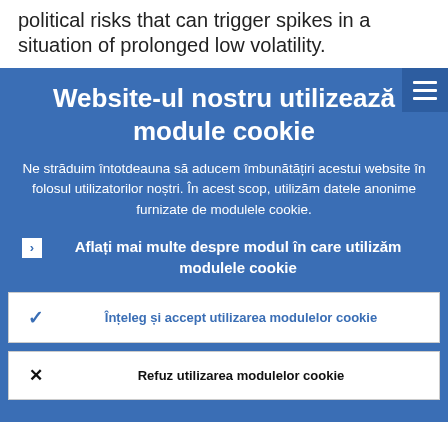political risks that can trigger spikes in a situation of prolonged low volatility.
Website-ul nostru utilizează module cookie
Ne străduim întotdeauna să aducem îmbunătățiri acestui website în folosul utilizatorilor noștri. În acest scop, utilizăm datele anonime furnizate de modulele cookie.
Aflați mai multe despre modul în care utilizăm modulele cookie
Înțeleg și accept utilizarea modulelor cookie
Refuz utilizarea modulelor cookie